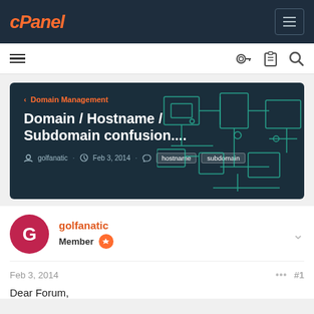cPanel
[Figure (screenshot): cPanel forum page header with navigation, hero banner showing 'Domain / Hostname / Subdomain confusion....' post by golfanatic dated Feb 3, 2014 with tags hostname and subdomain]
golfanatic
Member
Feb 3, 2014
#1
Dear Forum,